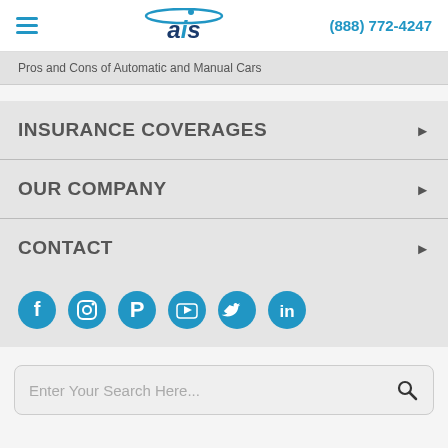[Figure (logo): AIS insurance logo with blue arc and stylized text, plus hamburger menu and phone number]
Pros and Cons of Automatic and Manual Cars
INSURANCE COVERAGES
OUR COMPANY
CONTACT
[Figure (infographic): Social media icons row: Facebook, Instagram, Pinterest, YouTube, Twitter, LinkedIn]
Enter Your Search Here...